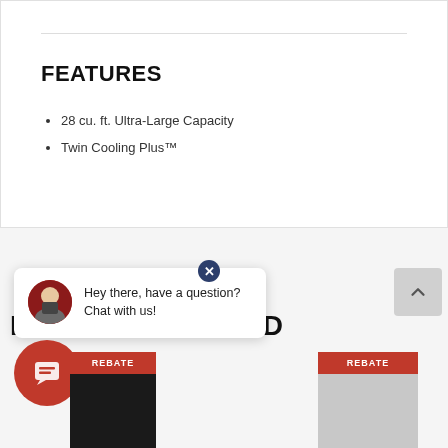FEATURES
28 cu. ft. Ultra-Large Capacity
Twin Cooling Plus™
Hey there, have a question? Chat with us!
RECENTLY VIEWED
[Figure (screenshot): REBATE badge on product thumbnail (left)]
[Figure (screenshot): REBATE badge on product thumbnail (right)]